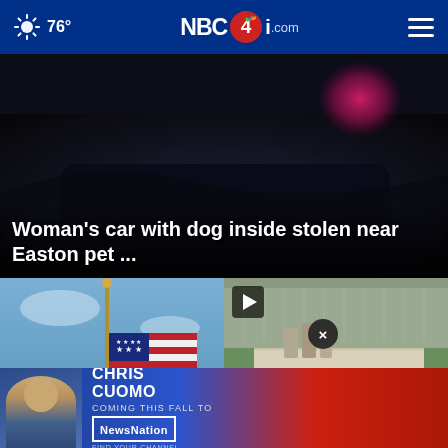76° NBC4i.com
[Figure (photo): Dark dramatic car interior/exterior photo at night, with pink/red blur of light in background]
Woman's car with dog inside stolen near Easton pet ...
[Figure (photo): American flag at half-staff against blue sky]
Why Ohio's flag... ha...
[Figure (photo): Aerial rendering of industrial/power plant facility with parking lot and green surroundings]
How to wo...h in ...ion
[Figure (photo): Chris Cuomo advertisement banner - Coming This Fall to NewsNation]
CHRIS CUOMO · COMING THIS FALL TO [NEWSNATION] FIND YOUR CHANNEL